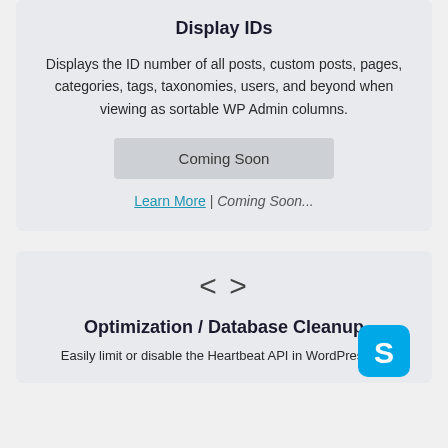Display IDs
Displays the ID number of all posts, custom posts, pages, categories, tags, taxonomies, users, and beyond when viewing as sortable WP Admin columns.
Coming Soon
Learn More | Coming Soon...
[Figure (illustration): Code bracket icon <> symbol]
Optimization / Database Cleanup
Easily limit or disable the Heartbeat API in WordPress by